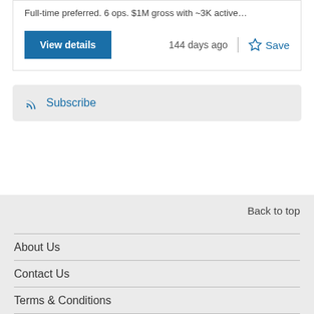Full-time preferred. 6 ops. $1M gross with ~3K active…
View details
144 days ago
Save
Subscribe
Back to top
About Us
Contact Us
Terms & Conditions